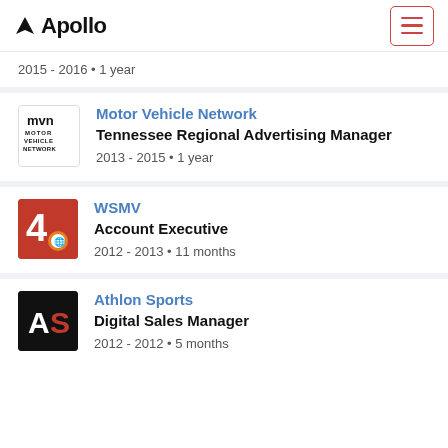Apollo
2015 - 2016 • 1 year
Motor Vehicle Network
Tennessee Regional Advertising Manager
2013 - 2015 • 1 year
WSMV
Account Executive
2012 - 2013 • 11 months
Athlon Sports
Digital Sales Manager
2012 - 2012 • 5 months